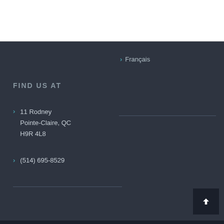Français
FIND US AT
11 Rodney Pointe-Claire, QC H9R 4L8
(514) 695-8529